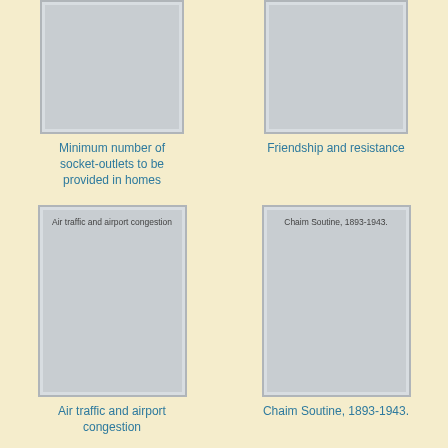[Figure (illustration): Book cover placeholder card (top-left) — gray rectangle with inner border]
Minimum number of socket-outlets to be provided in homes
[Figure (illustration): Book cover placeholder card (top-right) — gray rectangle with inner border]
Friendship and resistance
[Figure (illustration): Book cover placeholder card (bottom-left) — gray rectangle with inner border, text: Air traffic and airport congestion]
Air traffic and airport congestion
[Figure (illustration): Book cover placeholder card (bottom-right) — gray rectangle with inner border, text: Chaim Soutine, 1893-1943.]
Chaim Soutine, 1893-1943.